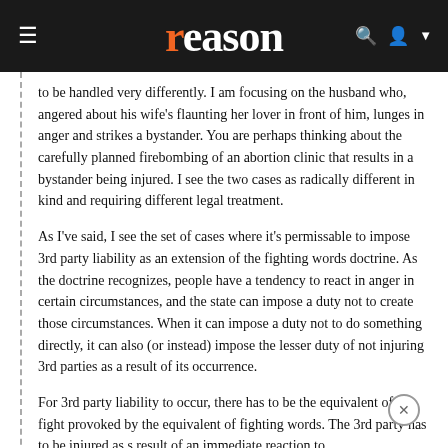reason
to be handled very differently. I am focusing on the husband who, angered about his wife's flaunting her lover in front of him, lunges in anger and strikes a bystander. You are perhaps thinking about the carefully planned firebombing of an abortion clinic that results in a bystander being injured. I see the two cases as radically different in kind and requiring different legal treatment.
As I've said, I see the set of cases where it's permissable to impose 3rd party liability as an extension of the fighting words doctrine. As the doctrine recognizes, people have a tendency to react in anger in certain circumstances, and the state can impose a duty not to create those circumstances. When it can impose a duty not to do something directly, it can also (or instead) impose the lesser duty of not injuring 3rd parties as a result of its occurrence.
For 3rd party liability to occur, there has to be the equivalent of a fight provoked by the equivalent of fighting words. The 3rd party has to be injured as s result of an immediate reaction to the provocation. This rules out premeditated conduct...
[Figure (screenshot): Bloomingdale's advertisement banner: 'View Today's Top Deals!' with a woman in a wide-brimmed hat and a 'SHOP NOW >' button]
abortion clinic case – when there is premeditation, there is the ability to get out. But the law has traditionally recognized, and I